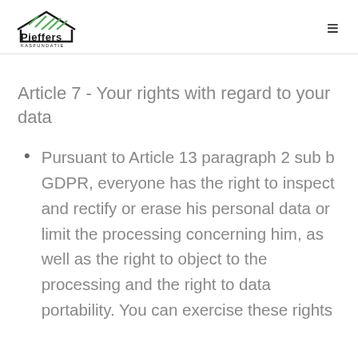[Figure (logo): Pieffers Kasfundatie logo with green house/greenhouse icon and bold black text]
Article 7 - Your rights with regard to your data
Pursuant to Article 13 paragraph 2 sub b GDPR, everyone has the right to inspect and rectify or erase his personal data or limit the processing concerning him, as well as the right to object to the processing and the right to data portability. You can exercise these rights